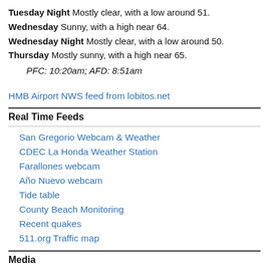Tuesday Night Mostly clear, with a low around 51.
Wednesday Sunny, with a high near 64.
Wednesday Night Mostly clear, with a low around 50.
Thursday Mostly sunny, with a high near 65.
PFC: 10:20am; AFD: 8:51am
HMB Airport NWS feed from lobitos.net
Real Time Feeds
San Gregorio Webcam & Weather
CDEC La Honda Weather Station
Farallones webcam
Año Nuevo webcam
Tide table
County Beach Monitoring
Recent quakes
511.org Traffic map
Media
HMB Review